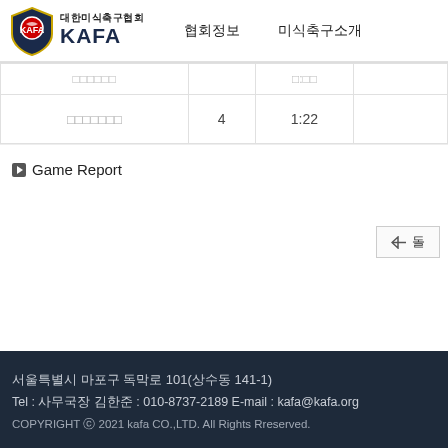대한미식축구협회 KAFA   협회정보   미식축구소개
| □□□□□□ |  | □:□□ |  |
| □□□□□□□ | 4 | 1:22 |  |
▶ Game Report
⇐ 돌
서울특별시 마포구 독막로 101(상수동 141-1)
Tel : 사무국장 김한준 : 010-8737-2189 E-mail : kafa@kafa.org
COPYRIGHT © 2021 kafa CO.,LTD. All Rights Rreserved.